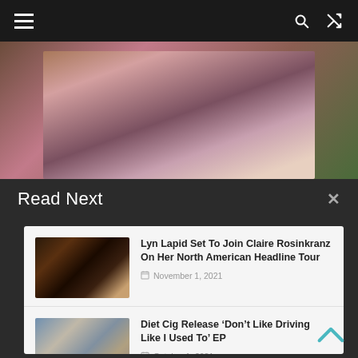Navigation bar with hamburger menu, search icon, and shuffle icon
[Figure (photo): Partial view of a woman with dark wavy hair wearing a white off-shoulder top, photographed outdoors]
Read Next
Lyn Lapid Set To Join Claire Rosinkranz On Her North American Headline Tour — November 1, 2021
Diet Cig Release ‘Don’t Like Driving Like I Used To’ EP — October 1, 2021